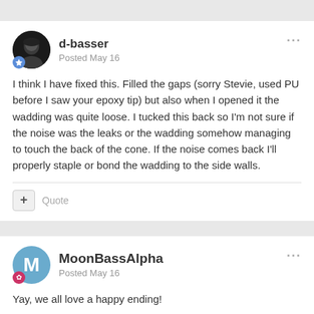d-basser
Posted May 16
I think I have fixed this. Filled the gaps (sorry Stevie, used PU before I saw your epoxy tip) but also when I opened it the wadding was quite loose. I tucked this back so I'm not sure if the noise was the leaks or the wadding somehow managing to touch the back of the cone. If the noise comes back I'll properly staple or bond the wadding to the side walls.
+ Quote
MoonBassAlpha
Posted May 16
Yay,  we all love a happy ending!